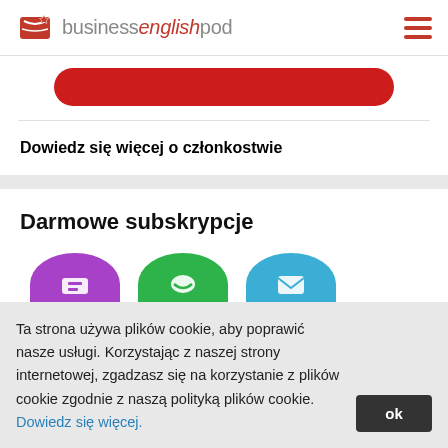[Figure (logo): Business English Pod logo with red book icon and text 'businessenglishpod' in grey/red italic, hamburger menu icon on right]
[Figure (other): Partial red rounded button (cropped at top)]
Dowiedz się więcej o członkostwie
Darmowe subskrypcje
[Figure (other): Three colored semicircle icons: purple, green, and blue, partially cropped at bottom]
Ta strona używa plików cookie, aby poprawić nasze usługi. Korzystając z naszej strony internetowej, zgadzasz się na korzystanie z plików cookie zgodnie z naszą polityką plików cookie. Dowiedz się więcej.